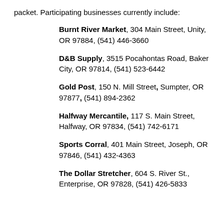packet. Participating businesses currently include:
Burnt River Market, 304 Main Street, Unity, OR 97884, (541) 446-3660
D&B Supply, 3515 Pocahontas Road, Baker City, OR 97814, (541) 523-6442
Gold Post, 150 N. Mill Street, Sumpter, OR 97877, (541) 894-2362
Halfway Mercantile, 117 S. Main Street, Halfway, OR 97834, (541) 742-6171
Sports Corral, 401 Main Street, Joseph, OR 97846, (541) 432-4363
The Dollar Stretcher, 604 S. River St., Enterprise, OR 97828, (541) 426-5833